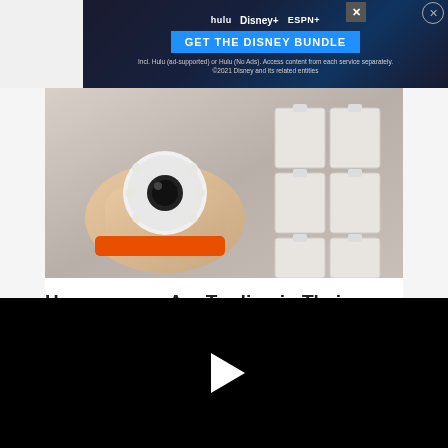[Figure (screenshot): Disney Bundle advertisement banner showing Hulu, Disney+, and ESPN+ logos with 'GET THE DISNEY BUNDLE' CTA button and fine print about ad-supported access. ©2021 Disney and its related entities.]
[Figure (photo): A hand holding a small white security camera with LED lights around the lens. Multiple boxed units visible in the background.]
Homeowners Are Trading in Their Doorbell Cams for This.
Keilini
[Figure (photo): Partial image of what appears to be a boot or shoe on sandy/rocky ground, with a dark object nearby.]
[Figure (screenshot): Black video player overlay with a white play button triangle in the center.]